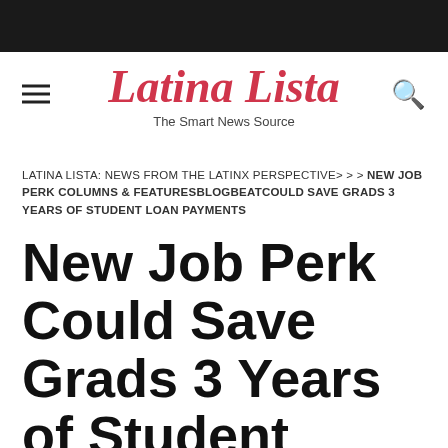Latina Lista — The Smart News Source
LATINA LISTA: NEWS FROM THE LATINX PERSPECTIVE> > > NEW JOB PERK COLUMNS & FEATURESBLOGBEATCOULD SAVE GRADS 3 YEARS OF STUDENT LOAN PAYMENTS
New Job Perk Could Save Grads 3 Years of Student Loan Payments